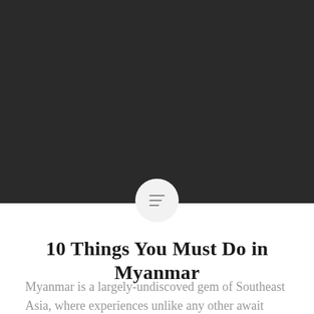[Figure (photo): Dark hero image area — large dark/charcoal background occupying the top portion of the page]
10 Things You Must Do in Myanmar
Myanmar is a largely-undiscoved gem of Southeast Asia, where experiences unlike any other await you.